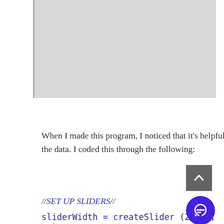[Figure (other): A gray placeholder image area at the top of the page]
When I made this program, I noticed that it's helpful to be able to scale the x and speed of drawing the data. I coded this through the following:
//SET UP SLIDERS//
sliderWidth = createSlider (2, 50, 10);